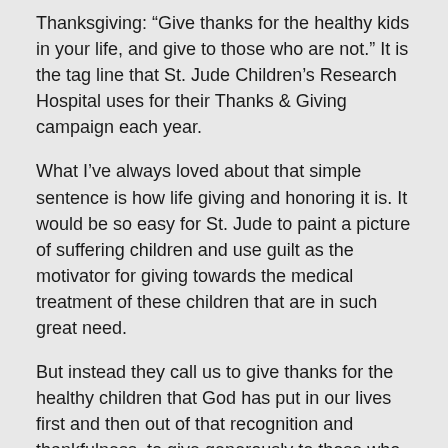Thanksgiving: “Give thanks for the healthy kids in your life, and give to those who are not.” It is the tag line that St. Jude Children’s Research Hospital uses for their Thanks & Giving campaign each year.
What I’ve always loved about that simple sentence is how life giving and honoring it is. It would be so easy for St. Jude to paint a picture of suffering children and use guilt as the motivator for giving towards the medical treatment of these children that are in such great need.
But instead they call us to give thanks for the healthy children that God has put in our lives first and then out of that recognition and thankfulness, to give generously to those who are suffering.
I wish we applied that same sentiment as we talk with people about the plight of the unreached around the globe! Unfortunately, we have been trained to